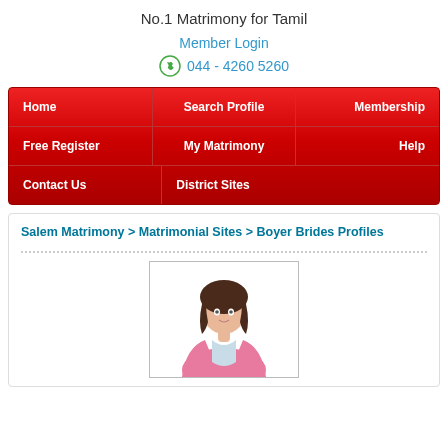No.1 Matrimony for Tamil
Member Login
044 - 4260 5260
Home | Search Profile | Membership | Free Register | My Matrimony | Help | Contact Us | District Sites
Salem Matrimony > Matrimonial Sites > Boyer Brides Profiles
[Figure (illustration): Generic female silhouette/avatar profile photo placeholder — a woman with dark hair wearing a pink blazer over a light blue shirt, shown from the waist up against a white background]